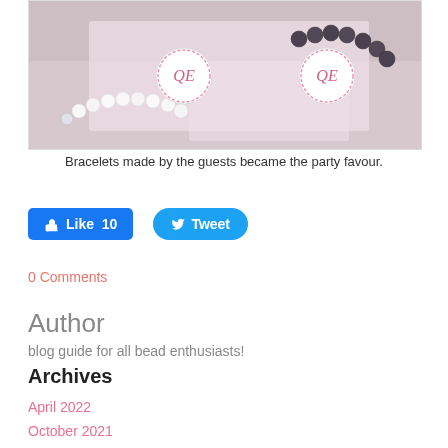[Figure (photo): Close-up photo of pearl and dark bead bracelets on a pink background with branded jewelry tags showing a pink circular logo.]
Bracelets made by the guests became the party favour.
Like 10   Tweet
0 Comments
Author
blog guide for all bead enthusiasts!
Archives
April 2022
October 2021
January 2021